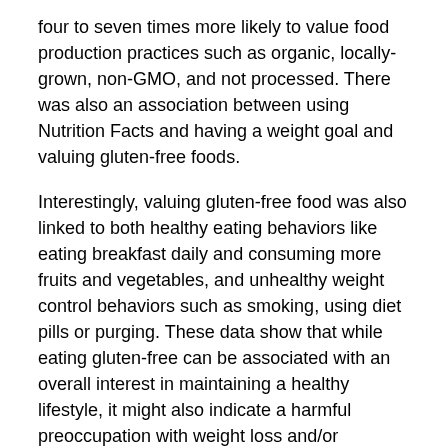four to seven times more likely to value food production practices such as organic, locally-grown, non-GMO, and not processed. There was also an association between using Nutrition Facts and having a weight goal and valuing gluten-free foods.
Interestingly, valuing gluten-free food was also linked to both healthy eating behaviors like eating breakfast daily and consuming more fruits and vegetables, and unhealthy weight control behaviors such as smoking, using diet pills or purging. These data show that while eating gluten-free can be associated with an overall interest in maintaining a healthy lifestyle, it might also indicate a harmful preoccupation with weight loss and/or behaviors that are perceived to promote weight loss. Researchers found that valuing gluten-free food was three times higher for young adults engaging in unhealthy weight control behaviors.
“I have concerns about the increasing number of people who perceive that eating a gluten-free diet is a healthier way to eat.